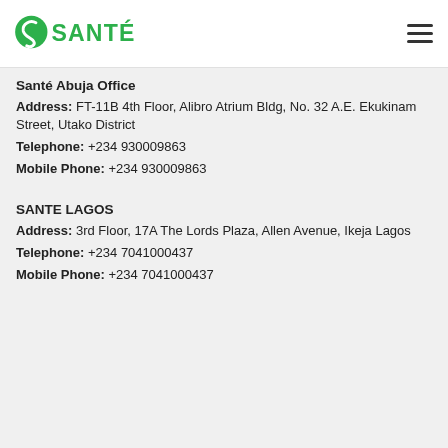SANTÉ
Santé Abuja Office
Address: FT-11B 4th Floor, Alibro Atrium Bldg, No. 32 A.E. Ekukinam Street, Utako District
Telephone: +234 930009863
Mobile Phone: +234 930009863
SANTE LAGOS
Address: 3rd Floor, 17A The Lords Plaza, Allen Avenue, Ikeja Lagos
Telephone: +234 7041000437
Mobile Phone: +234 7041000437